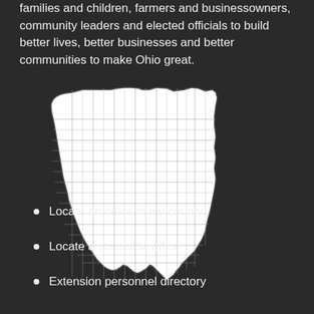families and children, farmers and businessowners, community leaders and elected officials to build better lives, better businesses and better communities to make Ohio great.
[Figure (map): Outline map of Ohio showing county boundaries, white counties on dark background]
Locate an office in my county
Locate a statewide office
Extension personnel directory